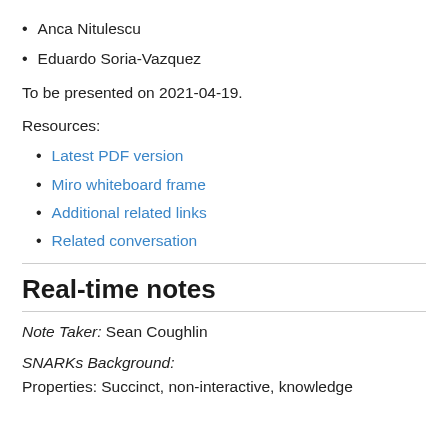Anca Nitulescu
Eduardo Soria-Vazquez
To be presented on 2021-04-19.
Resources:
Latest PDF version
Miro whiteboard frame
Additional related links
Related conversation
Real-time notes
Note Taker: Sean Coughlin
SNARKs Background:
Properties: Succinct, non-interactive, knowledge